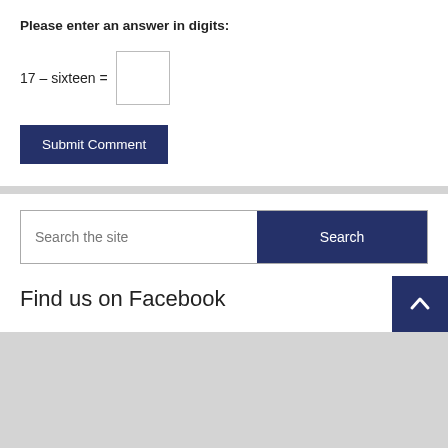Please enter an answer in digits:
Submit Comment
Search the site
Search
Find us on Facebook